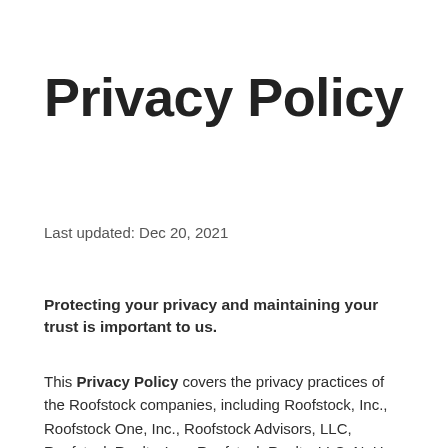Privacy Policy
Last updated: Dec 20, 2021
Protecting your privacy and maintaining your trust is important to us.
This Privacy Policy covers the privacy practices of the Roofstock companies, including Roofstock, Inc., Roofstock One, Inc., Roofstock Advisors, LLC, Roofstock Realty, Inc., Roofstock Realty, LLC, NoHo Services